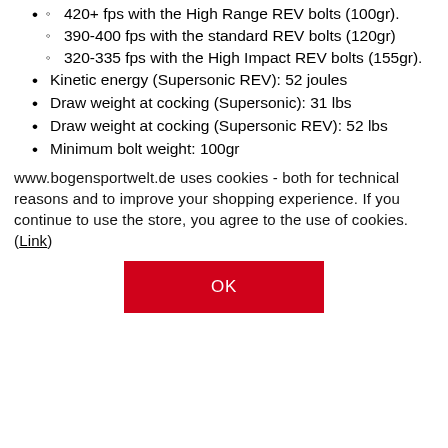420+ fps with the High Range REV bolts (100gr).
390-400 fps with the standard REV bolts (120gr)
320-335 fps with the High Impact REV bolts (155gr).
Kinetic energy (Supersonic REV): 52 joules
Draw weight at cocking (Supersonic): 31 lbs
Draw weight at cocking (Supersonic REV): 52 lbs
Minimum bolt weight: 100gr
www.bogensportwelt.de uses cookies - both for technical reasons and to improve your shopping experience. If you continue to use the store, you agree to the use of cookies. (Link)